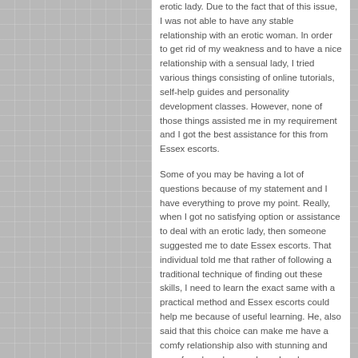erotic lady. Due to the fact that of this issue, I was not able to have any stable relationship with an erotic woman. In order to get rid of my weakness and to have a nice relationship with a sensual lady, I tried various things consisting of online tutorials, self-help guides and personality development classes. However, none of those things assisted me in my requirement and I got the best assistance for this from Essex escorts.
Some of you may be having a lot of questions because of my statement and I have everything to prove my point. Really, when I got no satisfying option or assistance to deal with an erotic lady, then someone suggested me to date Essex escorts. That individual told me that rather of following a traditional technique of finding out these skills, I need to learn the exact same with a practical method and Essex escorts could help me because of useful learning. He, also said that this choice can make me have a comfy relationship also with stunning and sexy females who are cheap London escorts.